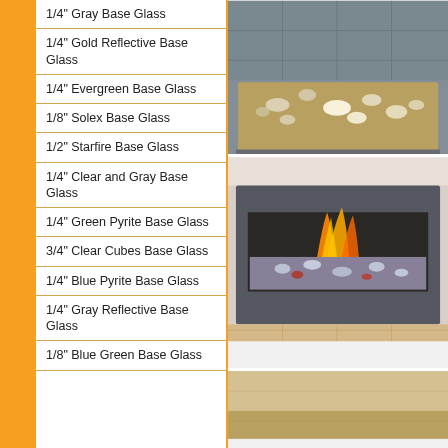1/4" Gray Base Glass
1/4" Gold Reflective Base Glass
1/4" Evergreen Base Glass
1/8" Solex Base Glass
1/2" Starfire Base Glass
1/4" Clear and Gray Base Glass
1/4" Green Pyrite Base Glass
3/4" Clear Cubes Base Glass
1/4" Blue Pyrite Base Glass
1/4" Gray Reflective Base Glass
1/8" Blue Green Base Glass
[Figure (photo): Top-down view of a rectangular fire pit or fireplace insert filled with mixed decorative glass (gold/silver reflective pieces) on a gray stone surround]
[Figure (photo): Front view of a modern linear gas fireplace with orange flames burning above clear and red decorative glass, set in a dark stone surround with light walls and terra cotta tile floor]
[Figure (photo): Partial view of another fireplace or fire feature with tan/beige surroundings]